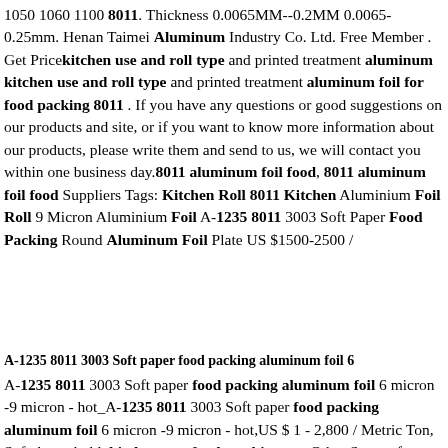1050 1060 1100 8011. Thickness 0.0065MM--0.2MM 0.0065-0.25mm. Henan Taimei Aluminum Industry Co. Ltd. Free Member . Get Price kitchen use and roll type and printed treatment aluminum kitchen use and roll type and printed treatment aluminum foil for food packing 8011 . If you have any questions or good suggestions on our products and site, or if you want to know more information about our products, please write them and send to us, we will contact you within one business day.8011 aluminum foil food, 8011 aluminum foil food Suppliers Tags: Kitchen Roll 8011 Kitchen Aluminium Foil Roll 9 Micron Aluminium Foil A-1235 8011 3003 Soft Paper Food Packing Round Aluminum Foil Plate US $1500-2500 /
A-1235 8011 3003 Soft paper food packing aluminum foil 6
A-1235 8011 3003 Soft paper food packing aluminum foil 6 micron -9 micron - hot_A-1235 8011 3003 Soft paper food packing aluminum foil 6 micron -9 micron - hot,US $ 1 - 2,800 / Metric Ton, Soft, household, kitchen use, food, packing etc. Other Source from